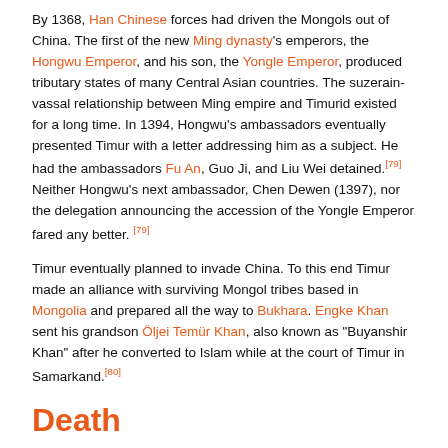By 1368, Han Chinese forces had driven the Mongols out of China. The first of the new Ming dynasty's emperors, the Hongwu Emperor, and his son, the Yongle Emperor, produced tributary states of many Central Asian countries. The suzerain-vassal relationship between Ming empire and Timurid existed for a long time. In 1394, Hongwu's ambassadors eventually presented Timur with a letter addressing him as a subject. He had the ambassadors Fu An, Guo Ji, and Liu Wei detained.[79] Neither Hongwu's next ambassador, Chen Dewen (1397), nor the delegation announcing the accession of the Yongle Emperor fared any better. [79]
Timur eventually planned to invade China. To this end Timur made an alliance with surviving Mongol tribes based in Mongolia and prepared all the way to Bukhara. Engke Khan sent his grandson Öljei Temür Khan, also known as "Buyanshir Khan" after he converted to Islam while at the court of Timur in Samarkand.[80]
Death
Timur preferred to fight his battles in the spring. However, he died en route during an uncharacteristic winter campaign. In December 1404, Timur began military campaigns against Ming China and